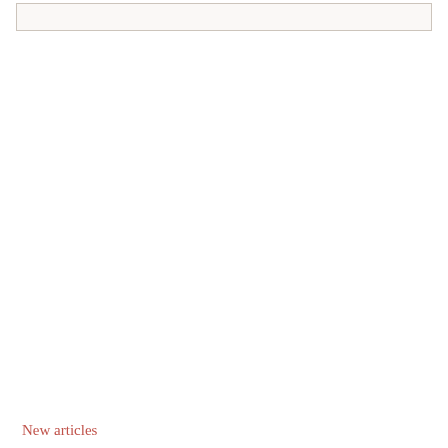[Figure (other): Empty box/container element at top of page]
New articles